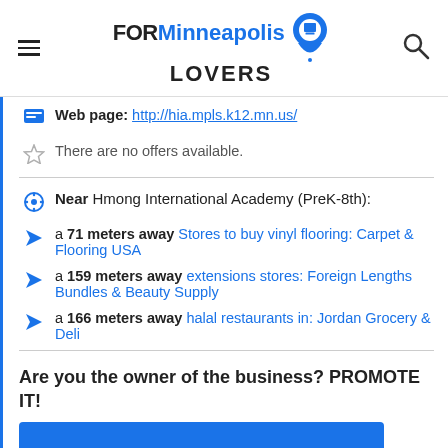FORMinneapolis LOVERS
Web page: http://hia.mpls.k12.mn.us/
There are no offers available.
Near Hmong International Academy (PreK-8th):
a 71 meters away Stores to buy vinyl flooring: Carpet & Flooring USA
a 159 meters away extensions stores: Foreign Lengths Bundles & Beauty Supply
a 166 meters away halal restaurants in: Jordan Grocery & Deli
Are you the owner of the business? PROMOTE IT!